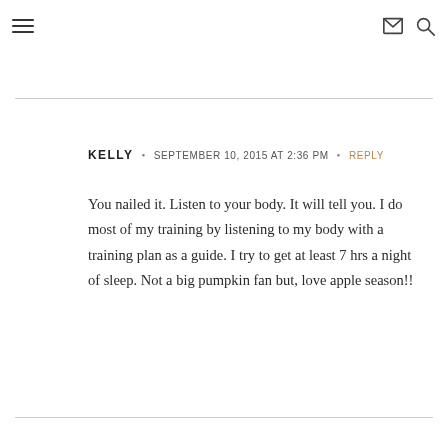≡  ✉  🔍
KELLY · SEPTEMBER 10, 2015 AT 2:36 PM · REPLY
You nailed it. Listen to your body. It will tell you. I do most of my training by listening to my body with a training plan as a guide. I try to get at least 7 hrs a night of sleep. Not a big pumpkin fan but, love apple season!!